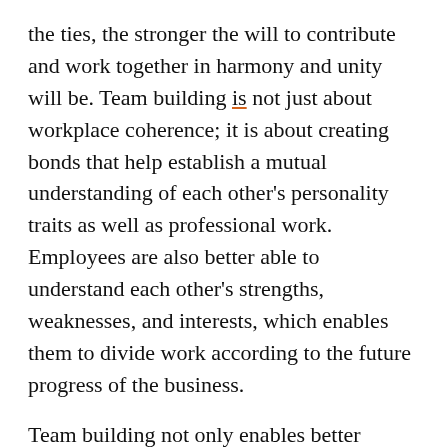the ties, the stronger the will to contribute and work together in harmony and unity will be. Team building is not just about workplace coherence; it is about creating bonds that help establish a mutual understanding of each other's personality traits as well as professional work. Employees are also better able to understand each other's strengths, weaknesses, and interests, which enables them to divide work according to the future progress of the business.
Team building not only enables better communication among employees, but it also helps them foster innovation and creativity for better teamwork. Some studies also make the case that music is like the icing on the cake since it not only helps in team building, but